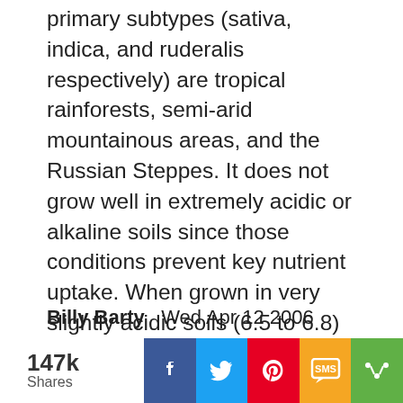primary subtypes (sativa, indica, and ruderalis respectively) are tropical rainforests, semi-arid mountainous areas, and the Russian Steppes. It does not grow well in extremely acidic or alkaline soils since those conditions prevent key nutrient uptake. When grown in very slightly acidic soils (6.5 to 6.8) it is one of the fastest growing land plants. Although THC used to be thought of as the medicinally active secondary metabolite, more recently it has been found that CBD(a "legal" compound found even in the fiber strains) exerts powerful effects, especially on the PNS and is the metabolite responsible for many benefits especially to MS sufferers.
Billy Barty  Wed Apr 12 2006
I would only add that there are two types of the drug-producing version; C. Sativa and C. Indica. C. Sativa's
[Figure (infographic): Social share bar with 147k Shares count, and buttons for Facebook, Twitter, Pinterest, SMS, and more (share icon)]